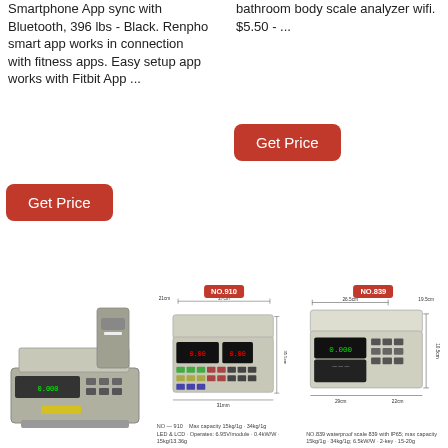Smartphone App sync with Bluetooth, 396 lbs - Black. Renpho smart app works in connection with fitness apps. Easy setup app works with Fitbit App ...
bathroom body scale analyzer wifi. $5.50 - ...
Get Price
Get Price
[Figure (photo): Photo of a digital kitchen/retail scale with printer, silver/grey color, low profile]
[Figure (photo): Photo of a retail counting scale labeled NO-910, with red LED display and keypad, showing dimensions 21cm x 27cm x 35.5cm. Specs: Max capacity 15kg/1g, 34kg/1g; LED LCD; Operates: 6.95V/module; 0.4kW/W; 15kg/13.36g]
[Figure (photo): Photo of a retail scale labeled NO.839, with green LCD display and keypad, showing dimensions 19.5cm x 26.5cm x 10.5cm, 29cm x 22cm. Specs: NO.839 waterproof scale 839 with IP65; max capacity 15kg/1g; 34kg/1g; 6.5kW/W; 2-key; 15-20g]